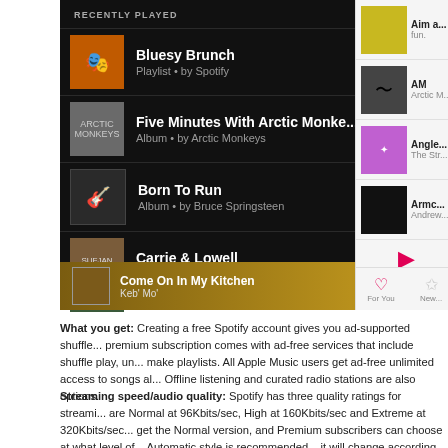[Figure (screenshot): Screenshot of Spotify app showing 'Recently Played' list with tracks: Bluesy Brunch (Playlist by Spotify), Five Minutes With Arctic Monke... (Album by Arctic Monkeys), Born To Run (Album by Bruce Springsteen), Carrie & Lowell (Album by Sufjan Stevens), and a partially visible item. Now playing bar shows 'Come On In My Kitchen' by Keb' Mo'. Right side shows Apple Music app with album thumbnails for Aim a..., AM (Arctic M...), Angle (The Str...), Armch... (Andrew...).]
What you get: Creating a free Spotify account gives you ad-supported shuffle... premium subscription comes with ad-free services that include shuffle play, un... make playlists. All Apple Music users get ad-free unlimited access to songs al... Offline listening and curated radio stations are also options.
Streaming speed/audio quality: Spotify has three quality ratings for streami... are Normal at 96Kbits/sec, High at 160Kbits/sec and Extreme at 320Kbits/sec... get the Normal version, and Premium subscribers can choose at what level of... Automatic style is recommended – it will change according to your network co... Apple Music is streamed in the 256Kbits/sec in the Advanced Audio Coding fo...